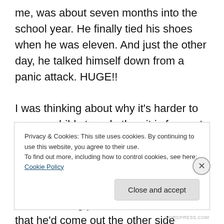me, was about seven months into the school year. He finally tied his shoes when he was eleven. And just the other day, he talked himself down from a panic attack. HUGE!!

I was thinking about why it's harder to see my child struggle than it is for me to deal with my own hardship, and it finally hit me. As much as I know that he has his own journey in life, and he'll have his own adventures and storms to weather, a big part of me didn't trust that he'd come out the other side without a severely damaged hull
Privacy & Cookies: This site uses cookies. By continuing to use this website, you agree to their use.
To find out more, including how to control cookies, see here: Cookie Policy
Close and accept
WORDPRESS.COM